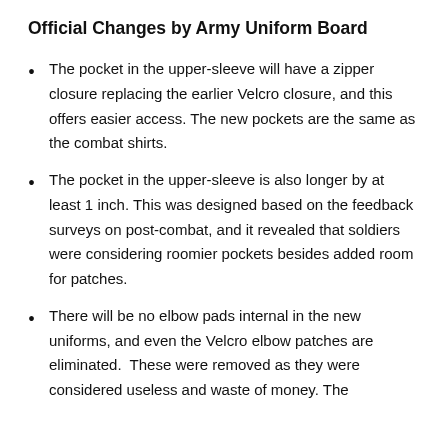Official Changes by Army Uniform Board
The pocket in the upper-sleeve will have a zipper closure replacing the earlier Velcro closure, and this offers easier access. The new pockets are the same as the combat shirts.
The pocket in the upper-sleeve is also longer by at least 1 inch. This was designed based on the feedback surveys on post-combat, and it revealed that soldiers were considering roomier pockets besides added room for patches.
There will be no elbow pads internal in the new uniforms, and even the Velcro elbow patches are eliminated.  These were removed as they were considered useless and waste of money. The